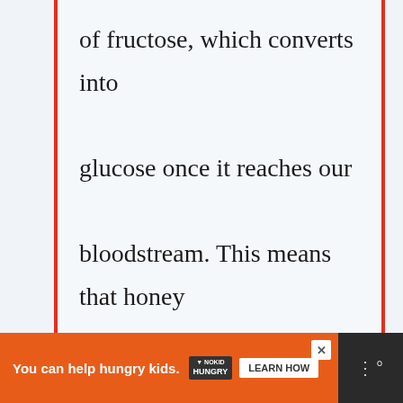of fructose, which converts into glucose once it reaches our bloodstream. This means that honey can cause blood sugar levels to spike.Honey is a natural sweetene
[Figure (screenshot): Advertisement banner: orange background with text 'You can help hungry kids.' alongside No Kid Hungry logo and a 'Learn How' button. Dark footer bar with weather app icon on right.]